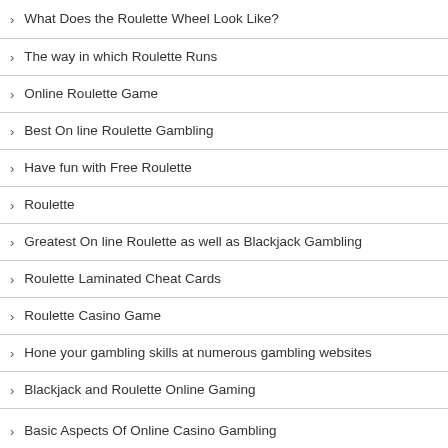What Does the Roulette Wheel Look Like?
The way in which Roulette Runs
Online Roulette Game
Best On line Roulette Gambling
Have fun with Free Roulette
Roulette
Greatest On line Roulette as well as Blackjack Gambling
Roulette Laminated Cheat Cards
Roulette Casino Game
Hone your gambling skills at numerous gambling websites
Blackjack and Roulette Online Gaming
Basic Aspects Of Online Casino Gambling
Casino Roulette Gambling
Gambling strategy for different games